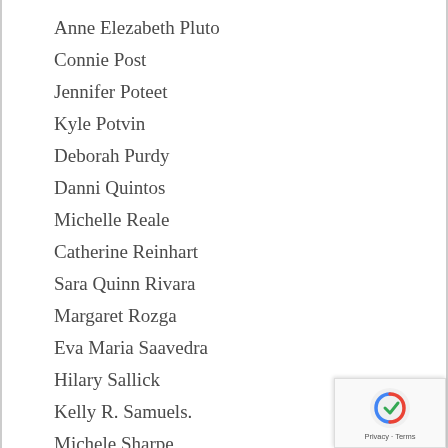Anne Elezabeth Pluto
Connie Post
Jennifer Poteet
Kyle Potvin
Deborah Purdy
Danni Quintos
Michelle Reale
Catherine Reinhart
Sara Quinn Rivara
Margaret Rozga
Eva Maria Saavedra
Hilary Sallick
Kelly R. Samuels.
Michele Sharpe
Hilary Sideris
Martha Silano